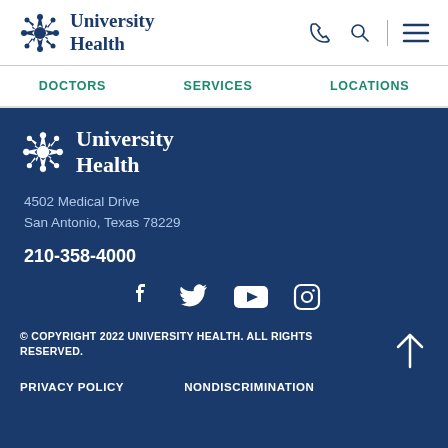[Figure (logo): University Health logo in header — star/snowflake icon and text 'University Health']
[Figure (infographic): Header icons: phone, search, hamburger menu]
DOCTORS    SERVICES    LOCATIONS
[Figure (logo): University Health logo in footer — white star/snowflake icon and text 'University Health']
4502 Medical Drive
San Antonio, Texas 78229
210-358-4000
[Figure (infographic): Social media icons: Facebook, Twitter, YouTube, Instagram]
© COPYRIGHT 2022 UNIVERSITY HEALTH. ALL RIGHTS RESERVED.
PRIVACY POLICY    NONDISCRIMINATION